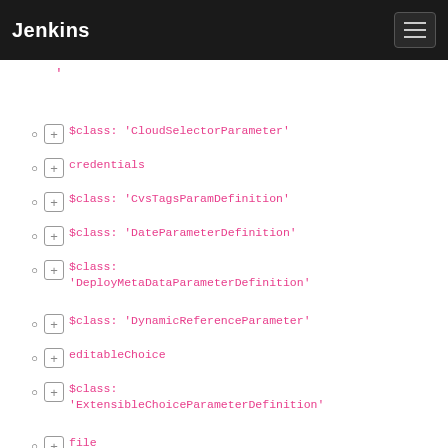Jenkins
'
[+] $class: 'CloudSelectorParameter'
[+] credentials
[+] $class: 'CvsTagsParamDefinition'
[+] $class: 'DateParameterDefinition'
[+] $class: 'DeployMetaDataParameterDefinition'
[+] $class: 'DynamicReferenceParameter'
[+] editableChoice
[+] $class: 'ExtensibleChoiceParameterDefinition'
[+] file
[+] $class: 'FileSystemListParameterDefinition'
[+] $class: 'GeneratorChoiceParameterDefinition'